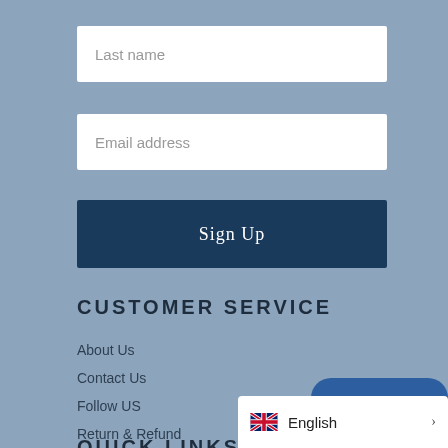[Figure (screenshot): Input field with placeholder text 'Last name']
[Figure (screenshot): Input field with placeholder text 'Email address']
[Figure (screenshot): Dark blue 'Sign Up' button]
CUSTOMER SERVICE
About Us
Contact Us
Follow US
Return & Refund
[Figure (screenshot): Blue rounded chat button with text 'Chat with us']
QUICK LINKS
[Figure (screenshot): Language selector bar showing UK flag and 'English' with chevron arrow]